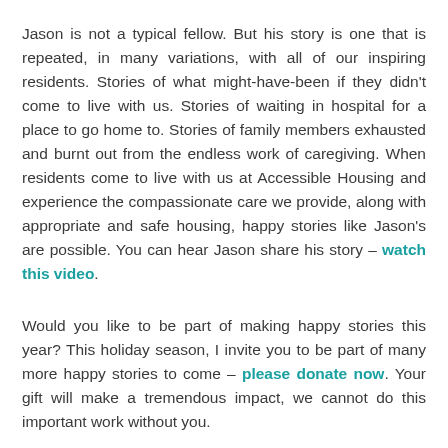Jason is not a typical fellow. But his story is one that is repeated, in many variations, with all of our inspiring residents. Stories of what might-have-been if they didn't come to live with us. Stories of waiting in hospital for a place to go home to. Stories of family members exhausted and burnt out from the endless work of caregiving. When residents come to live with us at Accessible Housing and experience the compassionate care we provide, along with appropriate and safe housing, happy stories like Jason's are possible. You can hear Jason share his story – watch this video.
Would you like to be part of making happy stories this year? This holiday season, I invite you to be part of many more happy stories to come – please donate now. Your gift will make a tremendous impact, we cannot do this important work without you.
Donate today and give hope to people like Jason.